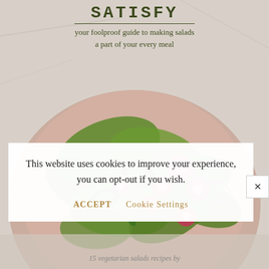SATISFY
your foolproof guide to making salads a part of your every meal
[Figure (photo): Overhead photo of a bowl of fresh green salad with radishes, avocado, and red onion on a marble surface]
This website uses cookies to improve your experience, you can opt-out if you wish.
ACCEPT   Cookie Settings
15 vegetarian salads recipes by